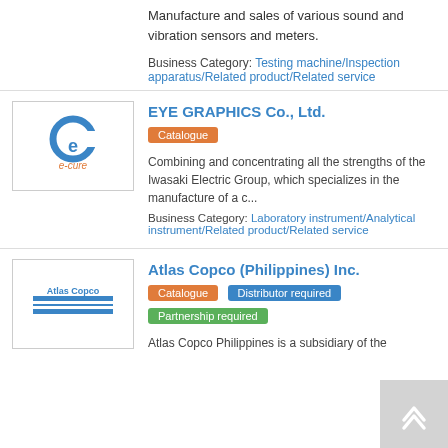Manufacture and sales of various sound and vibration sensors and meters.
Business Category: Testing machine/Inspection apparatus/Related product/Related service
EYE GRAPHICS Co., Ltd.
Catalogue
Combining and concentrating all the strengths of the Iwasaki Electric Group, which specializes in the manufacture of a c...
Business Category: Laboratory instrument/Analytical instrument/Related product/Related service
Atlas Copco (Philippines) Inc.
Catalogue   Distributor required   Partnership required
Atlas Copco Philippines is a subsidiary of the